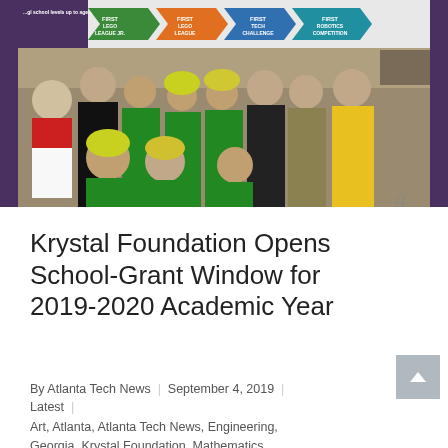[Figure (photo): Group photo of students in green FIRST Lego League shirts with flower headdresses, coaches, and parents standing in front of a FIRST robotics program banner showing progression from FIRST LEGO League Jr. to FIRST LEGO League to FIRST Tech Challenge to FIRST Robotics Competition.]
Krystal Foundation Opens School-Grant Window for 2019-2020 Academic Year
By Atlanta Tech News | September 4, 2019 | Latest |
Art, Atlanta, Atlanta Tech News, Engineering, Georgia, Krystal Foundation, Mathematics,